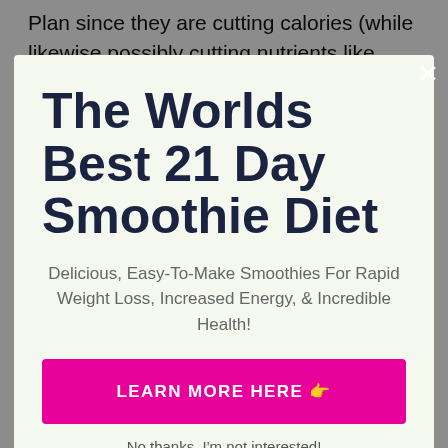Plan since they are cutting calories (while likewise possibly cutting nutrients like protein and healthy
The Worlds Best 21 Day Smoothie Diet
Delicious, Easy-To-Make Smoothies For Rapid Weight Loss, Increased Energy, & Incredible Health!
LEARN MORE HERE 👉
No thanks, I'm not interested!
through digestion and excretion (such as bowel movements and sweat). Cleansing is a primary feature of body organs like the liver and kidneys